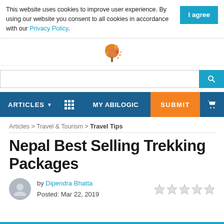This website uses cookies to improve user experience. By using our website you consent to all cookies in accordance with our Privacy Policy.
ARTICLES  MY ABILOGIC  SUBMIT
[Figure (logo): Tree logo with orange autumn leaves]
Articles > Travel & Tourism > Travel Tips
Nepal Best Selling Trekking Packages
by Dipendra Bhatta
Posted: Mar 22, 2019